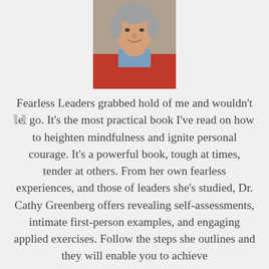[Figure (photo): Headshot of an elderly man wearing a red sweater and blue collared shirt, smiling, with gray hair, against a neutral background.]
Fearless Leaders grabbed hold of me and wouldn’t let go. It’s the most practical book I’ve read on how to heighten mindfulness and ignite personal courage. It’s a powerful book, tough at times, tender at others. From her own fearless experiences, and those of leaders she’s studied, Dr. Cathy Greenberg offers revealing self-assessments, intimate first-person examples, and engaging applied exercises. Follow the steps she outlines and they will enable you to achieve